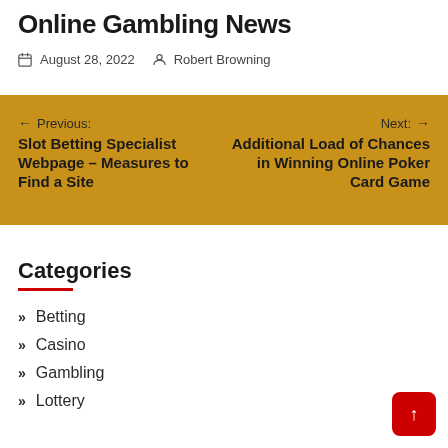Online Gambling News
August 28, 2022   Robert Browning
← Previous: Slot Betting Specialist Webpage – Measures to Find a Site   Next: → Additional Load of Chances in Winning Online Poker Card Game
Categories
Betting
Casino
Gambling
Lottery